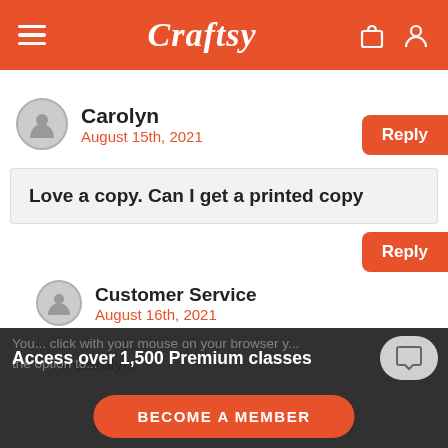Craftsy
Reply
Carolyn
August 15th, 2021
Love a copy. Can I get a printed copy
Reply
Customer Service
August 16th, 2021
Hi Carolyn,
Access over 1,500 Premium classes
You ... click with your mouse on your browser y... the option to...
BECOME A MEMBER